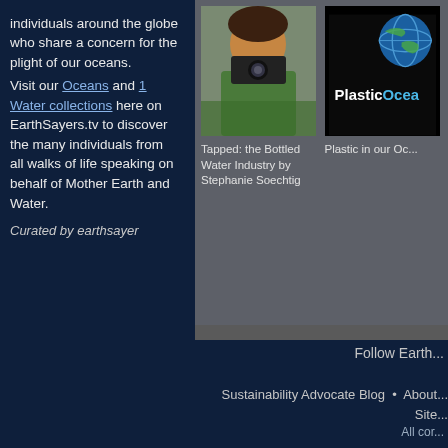individuals around the globe who share a concern for the plight of our oceans. Visit our Oceans and 1 Water collections here on EarthSayers.tv to discover the many individuals from all walks of life speaking on behalf of Mother Earth and Water.
Curated by earthsayer
[Figure (photo): Thumbnail of person with camera/binoculars, associated with 'Tapped: the Bottled Water Industry by Stephanie Soechtig']
Tapped: the Bottled Water Industry by Stephanie Soechtig
[Figure (photo): PlasticOcean logo/image on black background]
Plastic in our Oc...
Follow Earth...
Sustainability Advocate Blog  •  About... Site...
All cor...